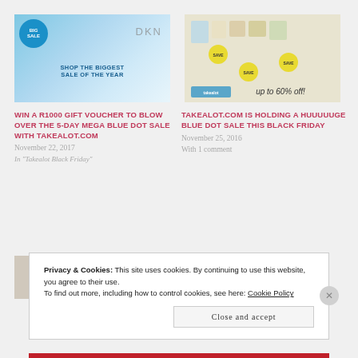[Figure (photo): Blue dot sale advertisement with perfume bottles and DKNY text, 'Shop the biggest sale of the year']
[Figure (photo): Takealot blue dot sale advertisement showing various perfume/cosmetics products with up to 60% off]
WIN A R1000 GIFT VOUCHER TO BLOW OVER THE 5-DAY MEGA BLUE DOT SALE WITH TAKEALOT.COM
November 22, 2017
In "Takealot Black Friday"
TAKEALOT.COM IS HOLDING A HUUUUUGE BLUE DOT SALE THIS BLACK FRIDAY
November 25, 2016
With 1 comment
[Figure (photo): Partial image of a document/product partially visible behind cookie banner]
Privacy & Cookies: This site uses cookies. By continuing to use this website, you agree to their use.
To find out more, including how to control cookies, see here: Cookie Policy
Close and accept